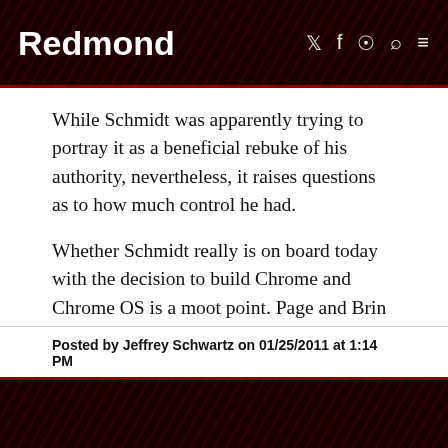Redmond
While Schmidt was apparently trying to portray it as a beneficial rebuke of his authority, nevertheless, it raises questions as to how much control he had.
Whether Schmidt really is on board today with the decision to build Chrome and Chrome OS is a moot point. Page and Brin did it without him. And perhaps the two decided it was time to stop "sneaking "around and take control of their company's destiny -- for better or for worse.
Posted by Jeffrey Schwartz on 01/25/2011 at 1:14 PM